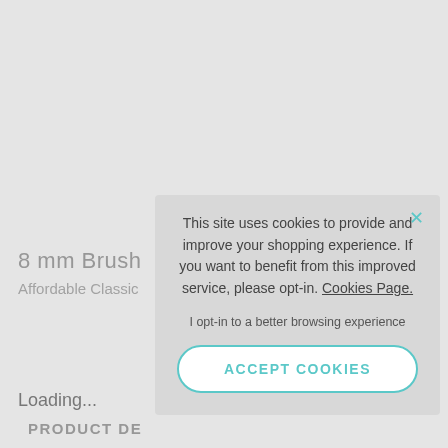8 mm Brush
Affordable Classic
Loading...
PRODUCT DE
This site uses cookies to provide and improve your shopping experience. If you want to benefit from this improved service, please opt-in. Cookies Page.

I opt-in to a better browsing experience
ACCEPT COOKIES